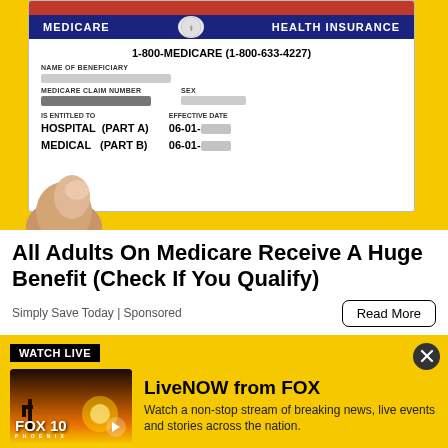[Figure (photo): A hand holding a Medicare Health Insurance card against a yellow background. The card shows '1-800-MEDICARE (1-800-633-4227)', fields for Name of Beneficiary (blurred), Medicare Claim Number (blurred), Sex (blurred), Effective Date, and entitlement to HOSPITAL (PART A) and MEDICAL (PART B) both with date 06-01-[blurred].]
All Adults On Medicare Receive A Huge Benefit (Check If You Qualify)
Simply Save Today | Sponsored
[Figure (screenshot): WATCH LIVE banner in yellow with FOX 10 Phoenix LiveNOW promotional block showing thumbnail and description text.]